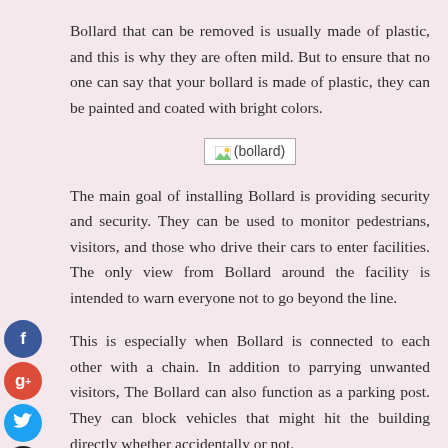Bollard that can be removed is usually made of plastic, and this is why they are often mild. But to ensure that no one can say that your bollard is made of plastic, they can be painted and coated with bright colors.
[Figure (illustration): A broken/missing image placeholder labeled (bollard)]
The main goal of installing Bollard is providing security and security. They can be used to monitor pedestrians, visitors, and those who drive their cars to enter facilities. The only view from Bollard around the facility is intended to warn everyone not to go beyond the line.
This is especially when Bollard is connected to each other with a chain. In addition to parrying unwanted visitors, The Bollard can also function as a parking post. They can block vehicles that might hit the building directly whether accidentally or not.